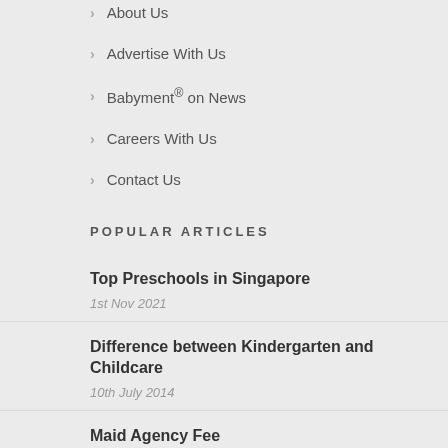About Us
Advertise With Us
Babyment® on News
Careers With Us
Contact Us
POPULAR ARTICLES
Top Preschools in Singapore
1st Nov 2021
Difference between Kindergarten and Childcare
10th July 2014
Maid Agency Fee